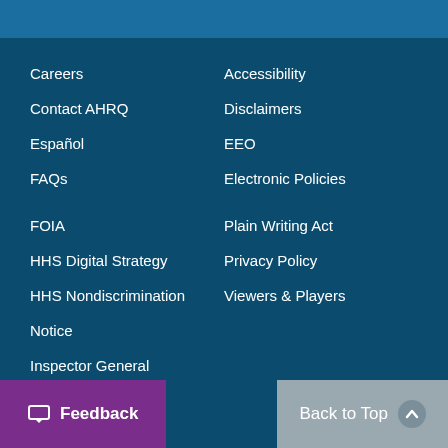Careers
Accessibility
Contact AHRQ
Disclaimers
Español
EEO
FAQs
Electronic Policies
FOIA
Plain Writing Act
HHS Digital Strategy
Privacy Policy
HHS Nondiscrimination Notice
Viewers & Players
Inspector General
U.S. Department of Health & Human Services
The White House
Feedback
Back to Top